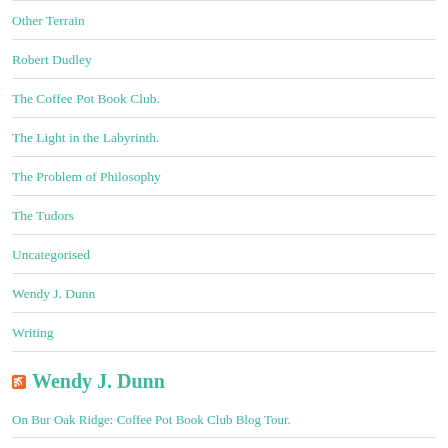Other Terrain
Robert Dudley
The Coffee Pot Book Club.
The Light in the Labyrinth.
The Problem of Philosophy
The Tudors
Uncategorised
Wendy J. Dunn
Writing
Wendy J. Dunn
On Bur Oak Ridge: Coffee Pot Book Club Blog Tour.
The Du Lac Chronicles: Coffee Pot Book Club Blog Tour.